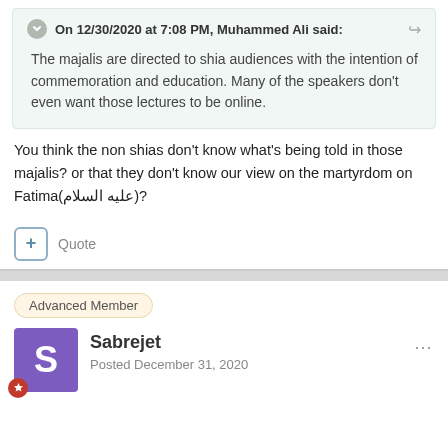On 12/30/2020 at 7:08 PM, Muhammed Ali said:
The majalis are directed to shia audiences with the intention of commemoration and education. Many of the speakers don't even want those lectures to be online.
You think the non shias don't know what's being told in those majalis? or that they don't know our view on the martyrdom on Fatima(عليه السلام)?
Advanced Member
Sabrejet
Posted December 31, 2020